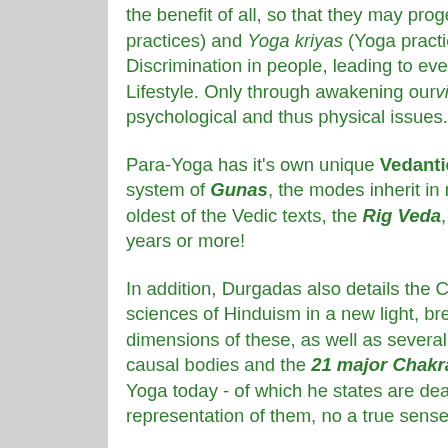the benefit of all, so that they may progess with specific Vedic-based daily sadhanas (spiritual practices) and Yoga kriyas (Yoga practices) designed to awaken the vivekagni or Fire of Discrimination in people, leading to eventual higher states of Consciousness and harmony in Lifestyle. Only through awakening our viveka, our discrimination, can we truly go beyond all psychological and thus physical issues.
Para-Yoga has it's own unique Vedantic (Hindu Metaphysical) Philosophy as well as an elaborate system of Gunas, the modes inherit in nature, as also 100 Levels of the Mind, all drawing from the oldest of the Vedic texts, the Rig Veda, the oldest text of mankind, in fact, going back some 10,000 years or more!
In addition, Durgadas also details the Cosmological system as per traditional Vedanta and Samkhya sciences of Hinduism in a new light, breaking them down and showing the original Vedic inter-dimensions of these, as well as several layers of Consciousness in each of the physical, subtle and causal bodies and the 21 major Chakras rather than dealing with the limiting 7 Chakras of the Pop-Yoga today - of which he states are dealing only with the lower emotional (or Vital) and physical representation of them, no a true sense of 'awakening' as in traditional Yoga systems itself!
The purpose of this Yoga, as following The Mother's (Mira Alfassa, the great devotee of Yogi Sri